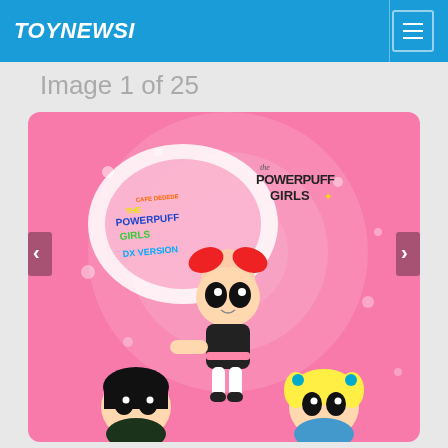TOYNEWSI
Image 1 of 25
[Figure (photo): Promotional image for The Powerpuff Girls DX Version collectible figures, showing three Funko-style vinyl figures of Blossom (center, with red bow, orange hair), Buttercup (bottom left, black hair), and Bubbles (bottom right, blonde pigtails, teal accessories) against a pink background with heart shapes and the Powerpuff Girls logos.]